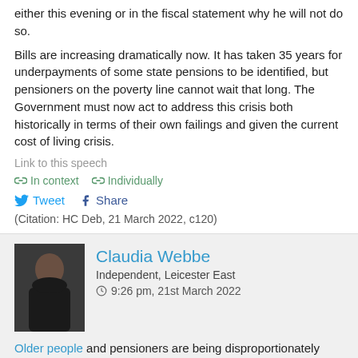either this evening or in the fiscal statement why he will not do so.
Bills are increasing dramatically now. It has taken 35 years for underpayments of some state pensions to be identified, but pensioners on the poverty line cannot wait that long. The Government must now act to address this crisis both historically in terms of their own failings and given the current cost of living crisis.
Link to this speech
In context   Individually
Tweet   Share
(Citation: HC Deb, 21 March 2022, c120)
Claudia Webbe
Independent, Leicester East
9:26 pm, 21st March 2022
Older people and pensioners are being disproportionately affected by the Government's cost of living crisis. Office for National Statistics research shows that pensioner households are having to spend more per week than other age groups. With the energy price cap increasing